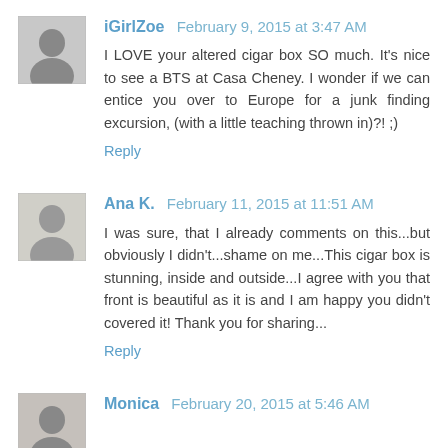[Figure (photo): Black and white avatar photo of iGirlZoe]
iGirlZoe  February 9, 2015 at 3:47 AM
I LOVE your altered cigar box SO much. It's nice to see a BTS at Casa Cheney. I wonder if we can entice you over to Europe for a junk finding excursion, (with a little teaching thrown in)?! ;)
Reply
[Figure (photo): Black and white avatar photo of Ana K.]
Ana K.  February 11, 2015 at 11:51 AM
I was sure, that I already comments on this...but obviously I didn't...shame on me...This cigar box is stunning, inside and outside...I agree with you that front is beautiful as it is and I am happy you didn't covered it! Thank you for sharing...
Reply
[Figure (photo): Black and white avatar photo of Monica]
Monica  February 20, 2015 at 5:46 AM